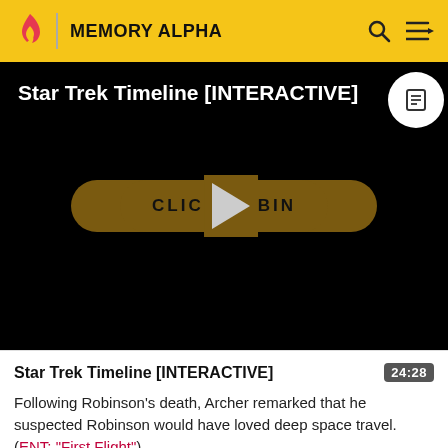MEMORY ALPHA
[Figure (screenshot): Star Trek Timeline [INTERACTIVE] video thumbnail with black background, play button, and 'CLICK TO BEGIN' button overlay. A white circle icon with document symbol is in the top right corner.]
Star Trek Timeline [INTERACTIVE]
Following Robinson's death, Archer remarked that he suspected Robinson would have loved deep space travel. (ENT: "First Flight")